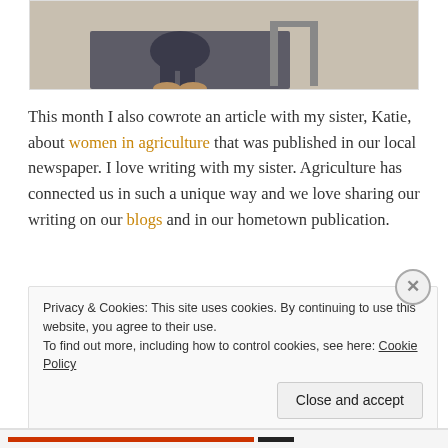[Figure (photo): Cropped photo showing lower portion of a person bending down, wearing dark clothing and tan/brown shoes, with a chair visible in the background on a light floor.]
This month I also cowrote an article with my sister, Katie, about women in agriculture that was published in our local newspaper.  I love writing with my sister.  Agriculture has connected us in such a unique way and we love sharing our writing on our blogs and in our hometown publication.
Privacy & Cookies: This site uses cookies. By continuing to use this website, you agree to their use.
To find out more, including how to control cookies, see here: Cookie Policy
Close and accept